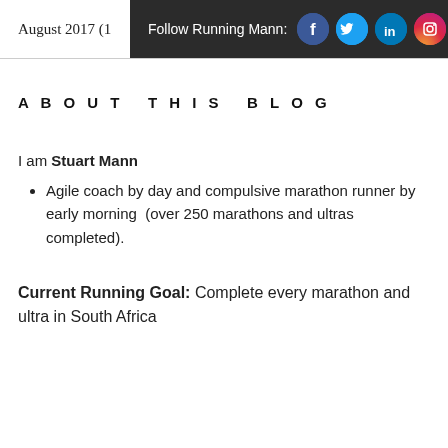August 2017 (1
Follow Running Mann:
ABOUT THIS BLOG
I am Stuart Mann
Agile coach by day and compulsive marathon runner by early morning  (over 250 marathons and ultras completed).
Current Running Goal: Complete every marathon and ultra in South Africa